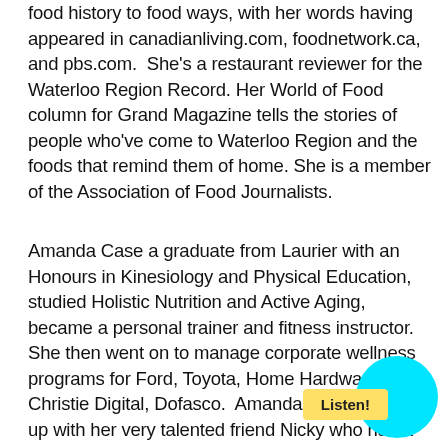food history to food ways, with her words having appeared in canadianliving.com, foodnetwork.ca, and pbs.com.  She's a restaurant reviewer for the Waterloo Region Record. Her World of Food column for Grand Magazine tells the stories of people who've come to Waterloo Region and the foods that remind them of home. She is a member of the Association of Food Journalists.
Amanda Case a graduate from Laurier with an Honours in Kinesiology and Physical Education, studied Holistic Nutrition and Active Aging, became a personal trainer and fitness instructor. She then went on to manage corporate wellness programs for Ford, Toyota, Home Hardware, Christie Digital, Dofasco.  Amanda Case teamed up with her very talented friend Nicky who had a background in cooking and a dream of owning a food business. Together they created MVP Meals @mvpmeals 3.5 years ago. It started with a one day a meal delivery and expanded to two days per week, with group options.  Eight months ago they opened a retail location